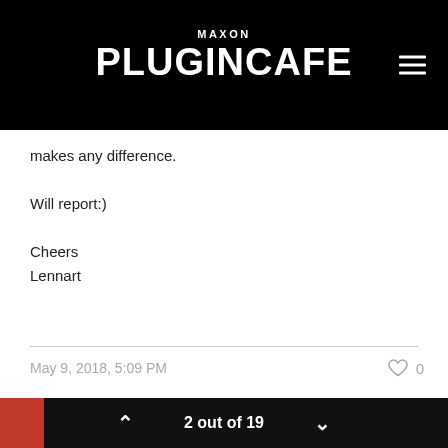MAXON PLUGINCAFE
makes any difference.

Will report:)

Cheers
Lennart
May 9, 2018, 5:09 PM   ♡ 0
Helper
2 out of 19